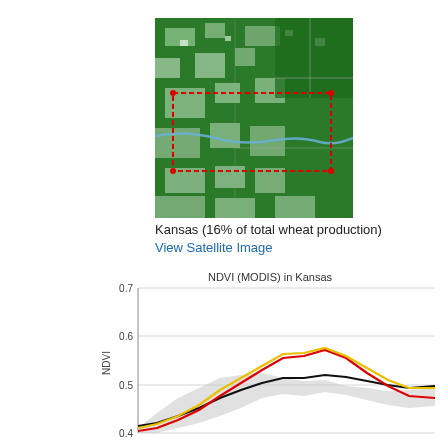[Figure (map): Satellite/NDVI map of Kansas showing green vegetation coverage with a red dashed rectangle indicating a region of interest and a blue river line running through it]
Kansas (16% of total wheat production)
View Satellite Image
[Figure (line-chart): Line chart showing NDVI over time in Kansas with gray shaded range band, a black line (mean), a red line (current year), and a yellow line (another year), y-axis from 0.4 to 0.7]